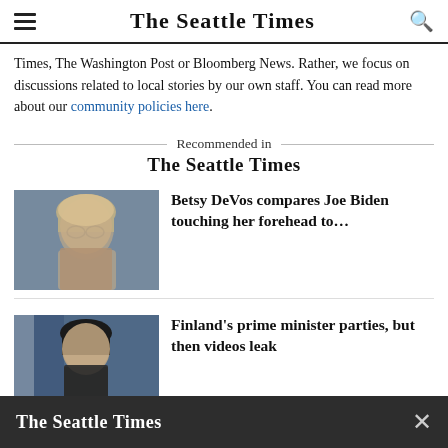The Seattle Times
Times, The Washington Post or Bloomberg News. Rather, we focus on discussions related to local stories by our own staff. You can read more about our community policies here.
Recommended in The Seattle Times
[Figure (photo): Photo of Betsy DeVos, a woman with blonde hair and glasses]
Betsy DeVos compares Joe Biden touching her forehead to...
[Figure (photo): Photo of Finland's prime minister, a dark-haired woman with a Finnish flag in background]
Finland's prime minister parties, but then videos leak
The Seattle Times